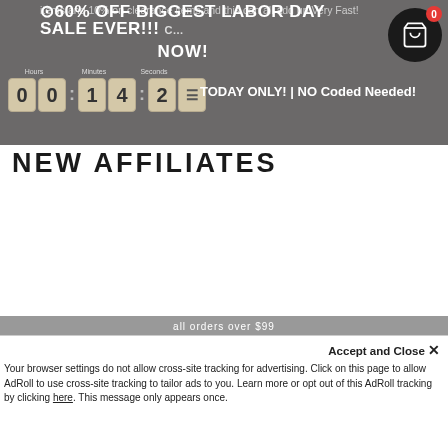items and 10% on clearance items and this can all add up Very Fast!
⊙60% OFF BIGGEST LABOR DAY SALE EVER!!! NOW!
TODAY ONLY! | NO Coded Needed!
00:14:2 countdown timer
NEW AFFILIATES
Click HERE to create a new Ambassador account and start making money right away! The process is super quick and easy, in under five minutes you will be on your way to earning some quick cash with us!
0% OFF
Accept and Close ✕
Your browser settings do not allow cross-site tracking for advertising. Click on this page to allow AdRoll to use cross-site tracking to tailor ads to you. Learn more or opt out of this AdRoll tracking by clicking here. This message only appears once.